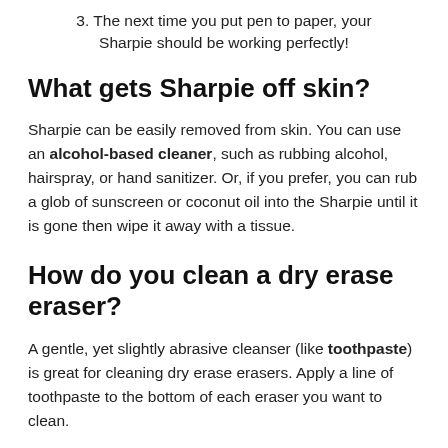3. The next time you put pen to paper, your Sharpie should be working perfectly!
What gets Sharpie off skin?
Sharpie can be easily removed from skin. You can use an alcohol-based cleaner, such as rubbing alcohol, hairspray, or hand sanitizer. Or, if you prefer, you can rub a glob of sunscreen or coconut oil into the Sharpie until it is gone then wipe it away with a tissue.
How do you clean a dry erase eraser?
A gentle, yet slightly abrasive cleanser (like toothpaste) is great for cleaning dry erase erasers. Apply a line of toothpaste to the bottom of each eraser you want to clean.